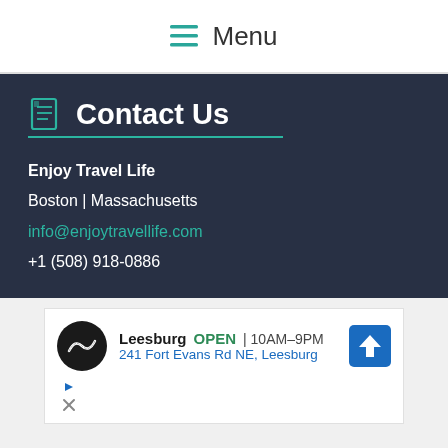Menu
Contact Us
Enjoy Travel Life
Boston | Massachusetts
info@enjoytravellife.com
+1 (508) 918-0886
Disclaimer
Enjoy Travel Life is a participant in the Amazon Services LLC
[Figure (other): Advertisement banner for a store in Leesburg showing OPEN 10AM-9PM, address 241 Fort Evans Rd NE, Leesburg, with navigation icon]